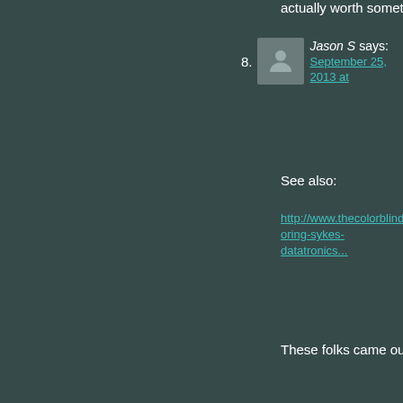actually worth something...
8. Jason S says: September 25, 2013 at
See also:
http://www.thecolorblind... oring-sykes-datatronics...
These folks came out w...
9. RochesterSubwa... September 25, 2013 at
@Jason, yes. That's the... interesting information a... employees came from t...
10. Jibreel Riley says: September 25, 2013 at
industrial waste? Wher...